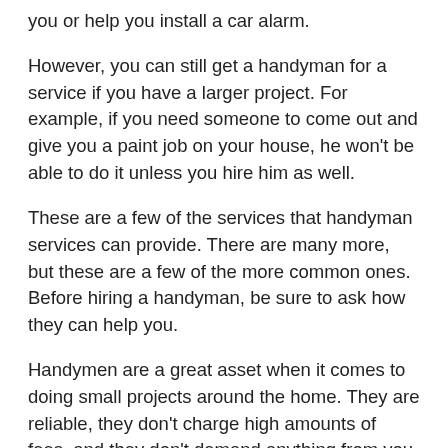you or help you install a car alarm.
However, you can still get a handyman for a service if you have a larger project. For example, if you need someone to come out and give you a paint job on your house, he won’t be able to do it unless you hire him as well.
These are a few of the services that handyman services can provide. There are many more, but these are a few of the more common ones. Before hiring a handyman, be sure to ask how they can help you.
Handymen are a great asset when it comes to doing small projects around the home. They are reliable, they don’t charge high amounts of fees, and they don’t demand anything from you. You have nothing to lose, and you have a great resource at your disposal.
It is easy to consider the different ways that handyman